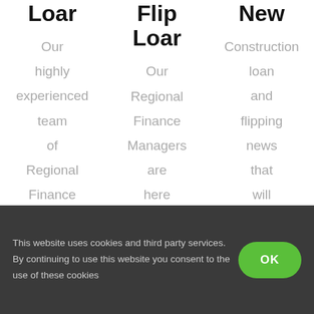Loan
Our highly experienced team of Regional Finance Managers are
Flip Loan
Our Regional Finance Managers are here to help
New
Construction loan and flipping news that will help you
This website uses cookies and third party services. By continuing to use this website you consent to the use of these cookies